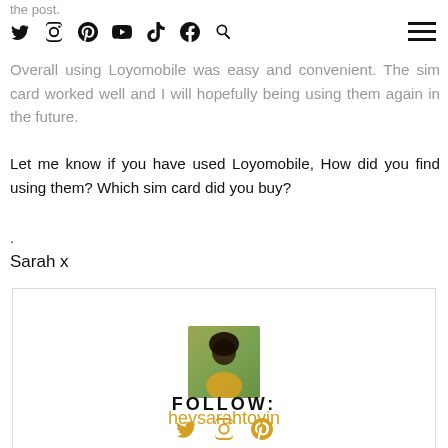the post. [social icons: Twitter, Instagram, Pinterest, YouTube, TikTok, Facebook, Search] [hamburger menu]
Overall using Loyomobile was easy and convenient. The sim card worked well and I will hopefully being using them again in the future.
Let me know if you have used Loyomobile, How did you find using them? Which sim card did you buy?
.
Sarah x
[Figure (photo): Author profile box with photo of a woman in a yellow top with green foliage background, and the name 'heysarahtoyin' in gold/orange text]
FOLLOW: